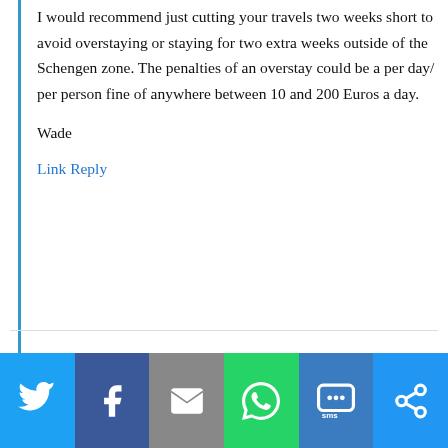I would recommend just cutting your travels two weeks short to avoid overstaying or staying for two extra weeks outside of the Schengen zone. The penalties of an overstay could be a per day/ per person fine of anywhere between 10 and 200 Euros a day.
Wade
Link Reply
Adam